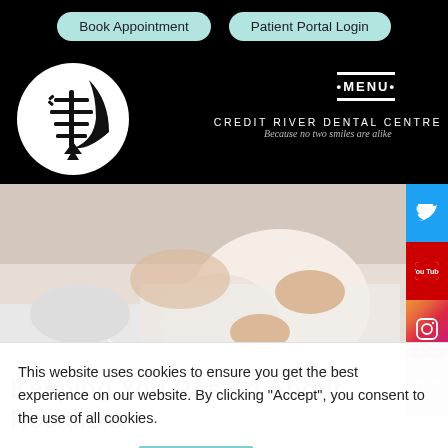Book Appointment | Patient Portal Login
[Figure (logo): Credit River Dental Centre snowflake and moon logo on black background with navigation menu]
CREDIT RIVER DENTAL CENTRE Because no two smiles are alike
[Figure (photo): Pregnant woman in white clothing reclining, hero banner image]
Keeping You Posted About Recalls &
This website uses cookies to ensure you get the best experience on our website. By clicking "Accept", you consent to the use of all cookies.
Cookie settings  ACCEPT